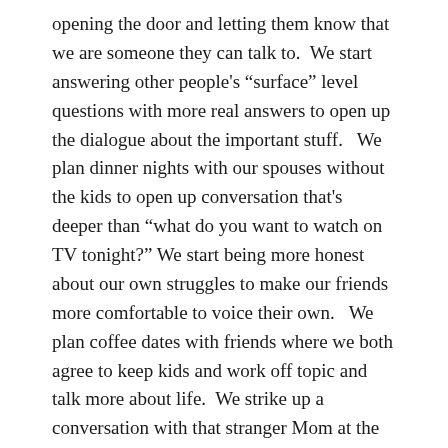opening the door and letting them know that we are someone they can talk to.  We start answering other people's "surface" level questions with more real answers to open up the dialogue about the important stuff.   We plan dinner nights with our spouses without the kids to open up conversation that's deeper than "what do you want to watch on TV tonight?" We start being more honest about our own struggles to make our friends more comfortable to voice their own.   We plan coffee dates with friends where we both agree to keep kids and work off topic and talk more about life.  We strike up a conversation with that stranger Mom at the library after we apologize for our kid stealing a toy from her kid.
And most importantly – we stop making assumptions about people until we've done these things.
So the challenge is this:  when we find ourselves in a situation that we can really connect with someone – whether for the first time or the 50th time – that we leave